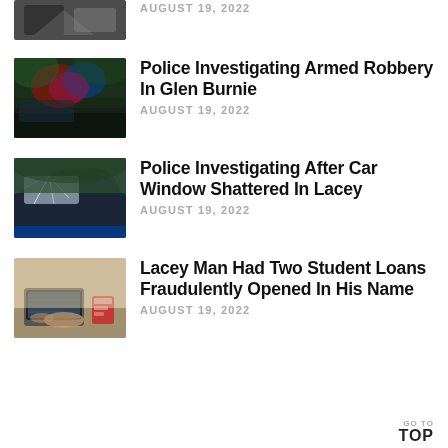[Figure (photo): Partially visible news thumbnail at top of page]
AUGUST 19, 2022
[Figure (photo): Police car with flashing blue and red lights]
Police Investigating Armed Robbery In Glen Burnie
AUGUST 19, 2022
[Figure (photo): Shattered car window]
Police Investigating After Car Window Shattered In Lacey
AUGUST 19, 2022
[Figure (photo): Person typing on laptop at desk]
Lacey Man Had Two Student Loans Fraudulently Opened In His Name
AUGUST 19, 2022